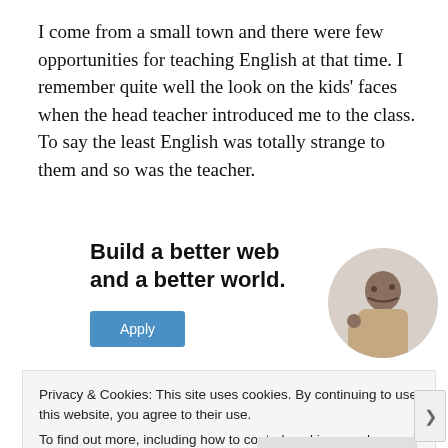I come from a small town and there were few opportunities for teaching English at that time. I remember quite well the look on the kids' faces when the head teacher introduced me to the class. To say the least English was totally strange to them and so was the teacher.
[Figure (infographic): Advertisement banner with text 'Build a better web and a better world.' and an Apply button, alongside a circular photo of a man thinking]
Privacy & Cookies: This site uses cookies. By continuing to use this website, you agree to their use.
To find out more, including how to control cookies, see here: Cookie Policy